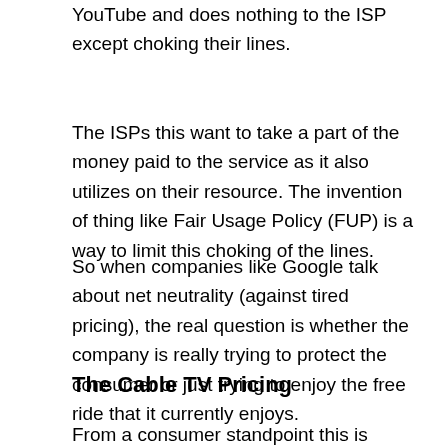YouTube and does nothing to the ISP except choking their lines.
The ISPs this want to take a part of the money paid to the service as it also utilizes on their resource. The invention of thing like Fair Usage Policy (FUP) is a way to limit this choking of the lines.
So when companies like Google talk about net neutrality (against tired pricing), the real question is whether the company is really trying to protect the consumer or just trying to enjoy the free ride that it currently enjoys.
The Cable TV Pricing
From a consumer standpoint this is certainly against